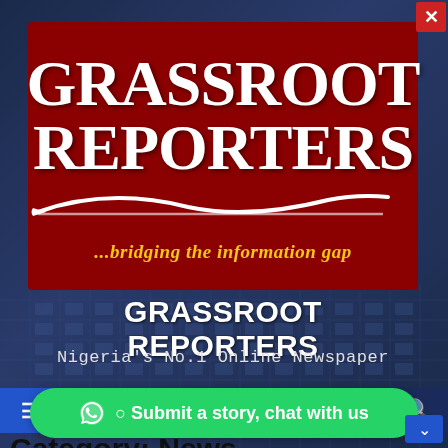[Figure (logo): Grassroot Reporters logo on dark red background with white text 'GRASSROOT REPORTERS' and yellow italic tagline '...bridging the information gap' with a white pen/spoon graphic]
GRASSROOT REPORTERS
Nigeria's No.1 Online Newspaper
[Figure (screenshot): Navigation bar with blue menu icon on left, center bookmark icon, and search icon on right. WhatsApp chat button overlay at bottom saying 'Submit a story, chat with us']
Category: News